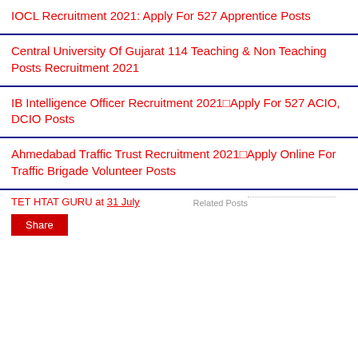IOCL Recruitment 2021: Apply For 527 Apprentice Posts
Central University Of Gujarat 114 Teaching & Non Teaching Posts Recruitment 2021
IB Intelligence Officer Recruitment 2021–Apply For 527 ACIO, DCIO Posts
Ahmedabad Traffic Trust Recruitment 2021–Apply Online For Traffic Brigade Volunteer Posts
TET HTAT GURU at 31 July
Related Posts
Share